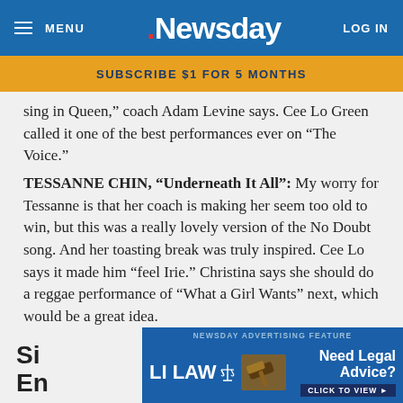MENU | Newsday | LOG IN
SUBSCRIBE $1 FOR 5 MONTHS
sing in Queen,” coach Adam Levine says. Cee Lo Green called it one of the best performances ever on “The Voice.”
TESSANNE CHIN, “Underneath It All”: My worry for Tessanne is that her coach is making her seem too old to win, but this was a really lovely version of the No Doubt song. And her toasting break was truly inspired. Cee Lo says it made him “feel Irie.” Christina says she should do a reggae performance of “What a Girl Wants” next, which would be a great idea.
[Figure (screenshot): Newsday Advertising Feature banner: LI LAW with scales of justice icon, gavel image, 'Need Legal Advice? CLICK TO VIEW ►']